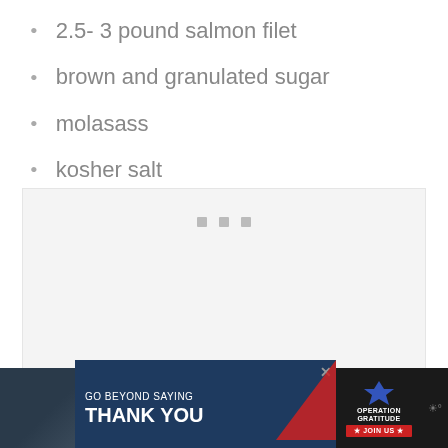2.5- 3 pound salmon filet
brown and granulated sugar
molasass
kosher salt
black peppercorns
[Figure (other): Loading placeholder box with three small grey square dots centered near top]
[Figure (other): Advertisement banner: Operation Gratitude 'Go Beyond Saying Thank You' ad with dark background, military photo on left, red white and blue swoosh design, and Join Us button]